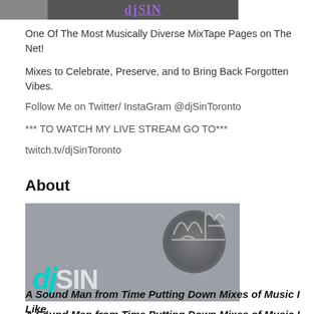[Figure (photo): Top banner with a person's face on the left and a purple stylized logo text on the right against a dark background]
One Of The Most Musically Diverse MixTape Pages on The Net!
Mixes to Celebrate, Preserve, and to Bring Back Forgotten Vibes.
Follow Me on Twitter/ InstaGram @djSinToronto
*** TO WATCH MY LIVE STREAM GO TO***
twitch.tv/djSinToronto
About
[Figure (logo): DJ Sin Toronto logo: teal 'dj' letters and grey 'SIN' text over a dark vinyl/turntable background with graffiti-style text]
A Sound Man from Time Putting Down Mixes of Music I Like.